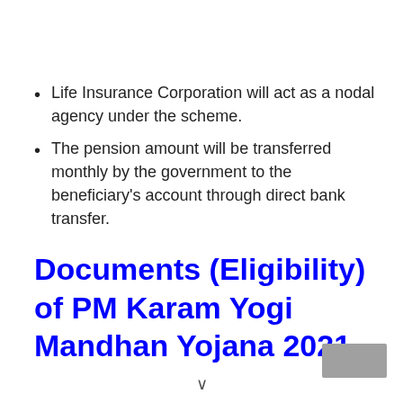Life Insurance Corporation will act as a nodal agency under the scheme.
The pension amount will be transferred monthly by the government to the beneficiary's account through direct bank transfer.
Documents (Eligibility) of PM Karam Yogi Mandhan Yojana 2021